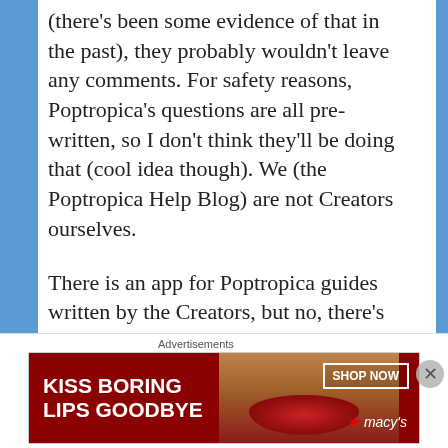(there's been some evidence of that in the past), they probably wouldn't leave any comments. For safety reasons, Poptropica's questions are all pre-written, so I don't think they'll be doing that (cool idea though). We (the Poptropica Help Blog) are not Creators ourselves.

There is an app for Poptropica guides written by the Creators, but no, there's currently no app for playing Poptropica itself. However, there are plans to bring Poptropica to the Nintendo DS.
Advertisements
[Figure (other): Advertisement banner for Macy's lip products. Red background with text 'KISS BORING LIPS GOODBYE', a woman's face with red lips, 'SHOP NOW' button, and Macy's star logo.]